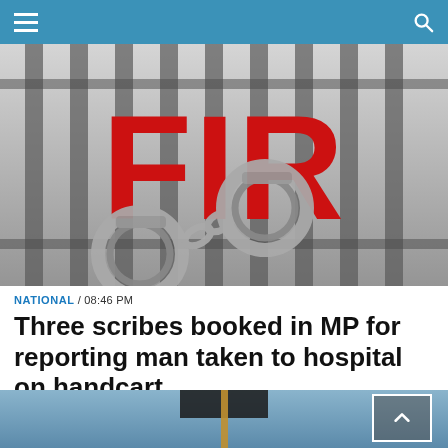Navigation bar with hamburger menu and search icon
[Figure (photo): Photo showing prison bars in black and white with large red bold text 'FIR' and handcuffs in the foreground]
NATIONAL / 08:46 PM
Three scribes booked in MP for reporting man taken to hospital on handcart
[Figure (photo): Partial photo showing a blue toned scene with a rope hanging, partially visible]